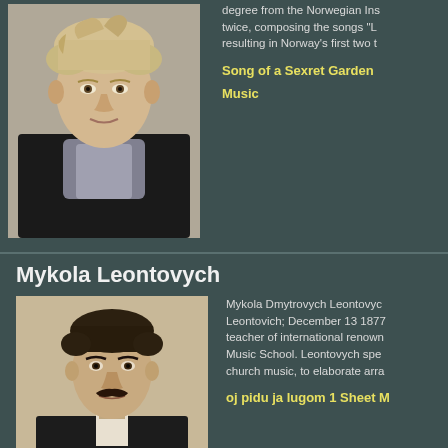[Figure (photo): Portrait photo of a man with disheveled blonde hair wearing a dark blazer with a grey scarf/neckerchief, looking directly at camera]
degree from the Norwegian Ins twice, composing the songs "L resulting in Norway's first two t
Song of a Sexret Garden
Music
Mykola Leontovych
[Figure (photo): Black and white historical portrait photograph of a young man with short dark hair and a mustache, wearing a dark jacket]
Mykola Dmytrovych Leontovyc Leontovich; December 13 1877 teacher of international renown Music School. Leontovych spe church music, to elaborate arra
oj pidu ja lugom 1 Sheet M